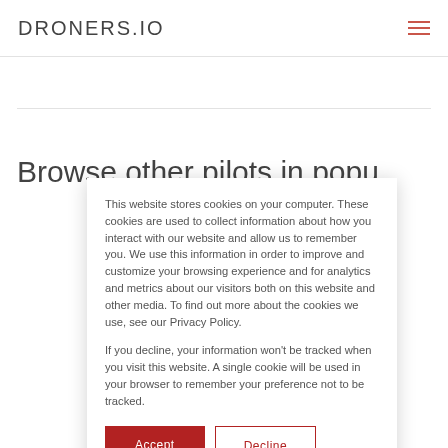DRONERS.IO
Browse other pilots in popular
This website stores cookies on your computer. These cookies are used to collect information about how you interact with our website and allow us to remember you. We use this information in order to improve and customize your browsing experience and for analytics and metrics about our visitors both on this website and other media. To find out more about the cookies we use, see our Privacy Policy.

If you decline, your information won't be tracked when you visit this website. A single cookie will be used in your browser to remember your preference not to be tracked.
Accept
Decline